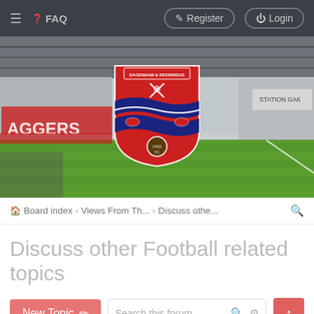≡  ❓ FAQ  Register  Login
[Figure (photo): Stadium photo of Dagenham & Redbridge FC (Aggersgate / Victoria Road) showing green pitch, red seating stands, with club badge overlay in centre]
🏠 Board index  ‹  Views From Th...  ‹  Discuss othe...  🔍
Discuss other Football related topics
New Topic  ✏   Search this forum...  🔍  ⚙   ↑